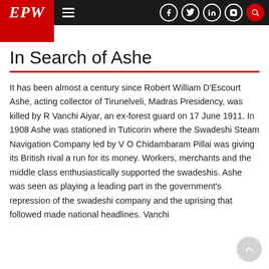EPW — Economic & Political Weekly navigation header
In Search of Ashe
It has been almost a century since Robert William D'Escourt Ashe, acting collector of Tirunelveli, Madras Presidency, was killed by R Vanchi Aiyar, an ex-forest guard on 17 June 1911. In 1908 Ashe was stationed in Tuticorin where the Swadeshi Steam Navigation Company led by V O Chidambaram Pillai was giving its British rival a run for its money. Workers, merchants and the middle class enthusiastically supported the swadeshis. Ashe was seen as playing a leading part in the government's repression of the swadeshi company and the uprising that followed made national headlines. Vanchi